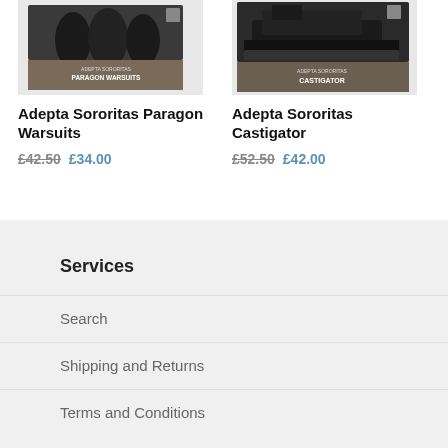[Figure (photo): Product box image of Adepta Sororitas Paragon Warsuits miniatures set]
[Figure (photo): Product box image of Adepta Sororitas Castigator miniatures set]
Adepta Sororitas Paragon Warsuits
£42.50  £34.00
Adepta Sororitas Castigator
£52.50  £42.00
Services
Search
Shipping and Returns
Terms and Conditions